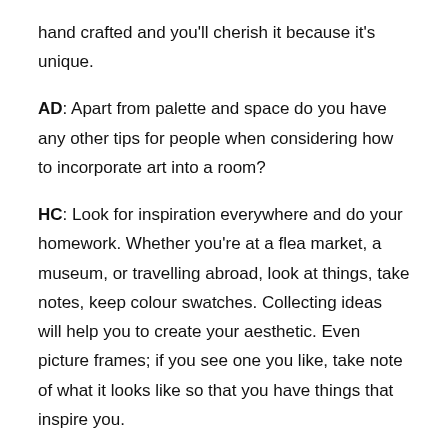hand crafted and you'll cherish it because it's unique.
AD: Apart from palette and space do you have any other tips for people when considering how to incorporate art into a room?
HC: Look for inspiration everywhere and do your homework. Whether you're at a flea market, a museum, or travelling abroad, look at things, take notes, keep colour swatches. Collecting ideas will help you to create your aesthetic. Even picture frames; if you see one you like, take note of what it looks like so that you have things that inspire you.
If you're near London's Design Centre do stop by